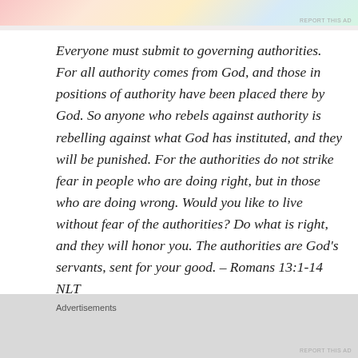[Figure (photo): Top advertisement banner image with colorful gradient design]
Everyone must submit to governing authorities. For all authority comes from God, and those in positions of authority have been placed there by God. So anyone who rebels against authority is rebelling against what God has instituted, and they will be punished. For the authorities do not strike fear in people who are doing right, but in those who are doing wrong. Would you like to live without fear of the authorities? Do what is right, and they will honor you. The authorities are God's servants, sent for your good. – Romans 13:1-14 NLT
Peter then applied this concept of submission to slaves
Advertisements